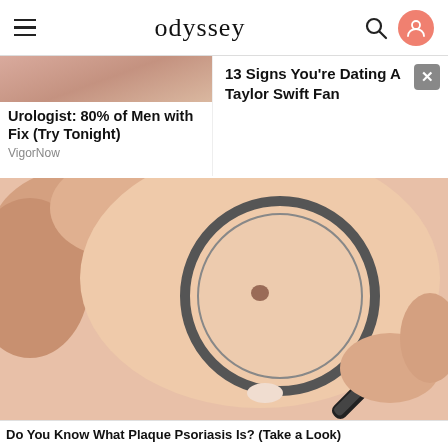odyssey
Urologist: 80% of Men with Fix (Try Tonight)
VigorNow
13 Signs You're Dating A Taylor Swift Fan
[Figure (photo): Close-up photo of a person holding a magnifying glass over skin with a mole, examined by hands.]
Do You Know What Plaque Psoriasis Is? (Take a Look)